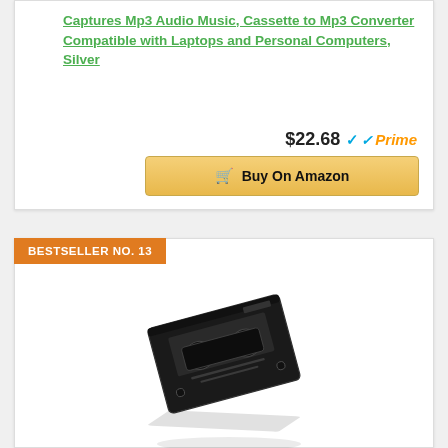Captures Mp3 Audio Music, Cassette to Mp3 Converter Compatible with Laptops and Personal Computers, Silver
$22.68 ✓Prime
Buy On Amazon
BESTSELLER NO. 13
[Figure (photo): Black cassette tape adapter product photo, angled view showing two reels, with a faint reflection below on white background]